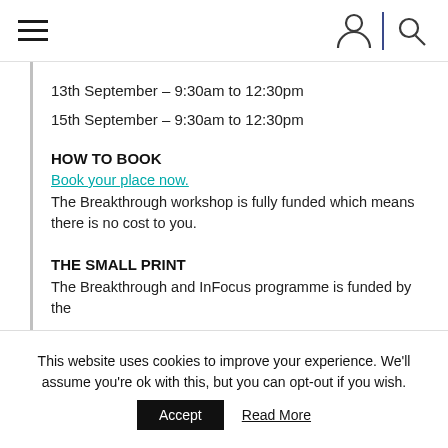Navigation bar with hamburger menu and user/search icons
13th September – 9:30am to 12:30pm
15th September – 9:30am to 12:30pm
HOW TO BOOK
Book your place now. The Breakthrough workshop is fully funded which means there is no cost to you.
THE SMALL PRINT
The Breakthrough and InFocus programme is funded by the
This website uses cookies to improve your experience. We'll assume you're ok with this, but you can opt-out if you wish.